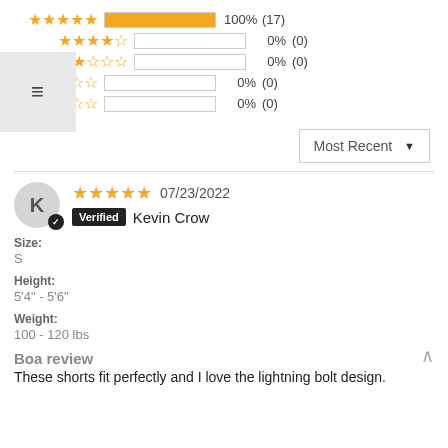[Figure (other): Star rating distribution bar chart: 5-star 100% (17), 4-star 0% (0), 3-star 0% (0), 2-star 0% (0), 1-star 0% (0)]
[Figure (other): Hamburger/menu icon in grey box]
Most Recent ▼
K — Kevin Crow — Verified — 07/23/2022 — 5 stars
Size:
S
Height:
5'4" - 5'6"
Weight:
100 - 120 lbs
Boa review
These shorts fit perfectly and I love the lightning bolt design.